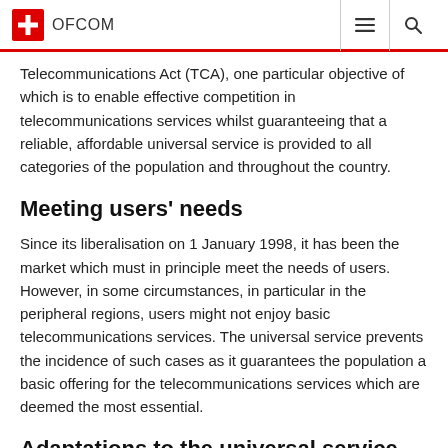OFCOM
Telecommunications Act (TCA), one particular objective of which is to enable effective competition in telecommunications services whilst guaranteeing that a reliable, affordable universal service is provided to all categories of the population and throughout the country.
Meeting users' needs
Since its liberalisation on 1 January 1998, it has been the market which must in principle meet the needs of users. However, in some circumstances, in particular in the peripheral regions, users might not enjoy basic telecommunications services. The universal service prevents the incidence of such cases as it guarantees the population a basic offering for the telecommunications services which are deemed the most essential.
Adaptations to the universal service
According to Article 16, para. 3 TCA, the Federal Council can periodically adapt the services forming part of the universal service to